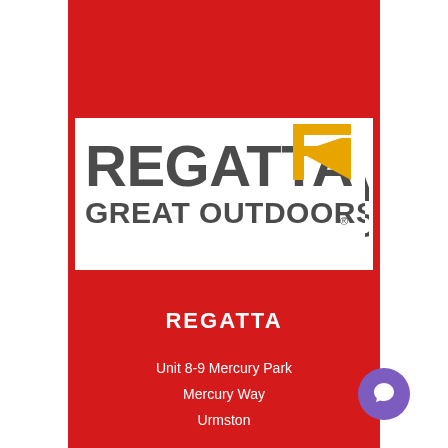[Figure (logo): Regatta Great Outdoors logo — white rectangle with dark grey bold text 'REGATTA' and smaller text 'GREAT OUTDOORS' with a stylized yellow/gold R chevron icon on the right]
REGATTA
Unit 8-9 Mercury Park
Mercury Way
Urmston